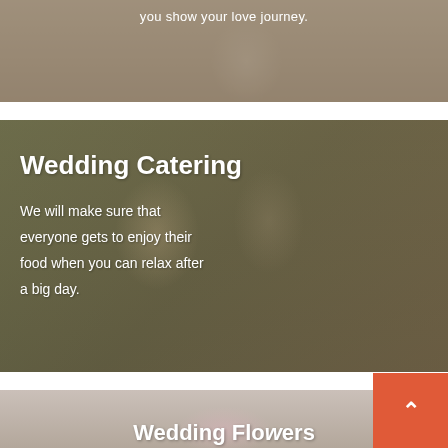[Figure (photo): Wedding cake photo with dark overlay at top of page, partially visible]
you show your love journey.
[Figure (photo): Wedding catering photo showing couple and guests at outdoor buffet table with chafing dishes, dark overlay applied]
Wedding Catering
We will make sure that everyone gets to enjoy their food when you can relax after a big day.
[Figure (photo): Wedding flowers photo, partially visible at bottom, showing pink floral arrangement]
Wedding Flowers